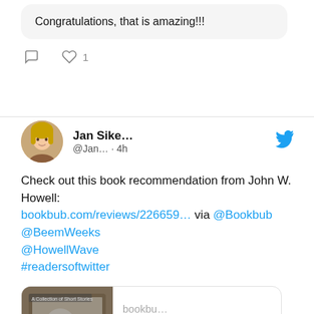Congratulations, that is amazing!!!
1 like
Jan Sike... @Jan... · 4h
Check out this book recommendation from John W. Howell: bookbub.com/reviews/226659... via @Bookbub @BeemWeeks @HowellWave #readersoftwitter
[Figure (screenshot): Link preview card showing bookbu... and John W. Howell ...]